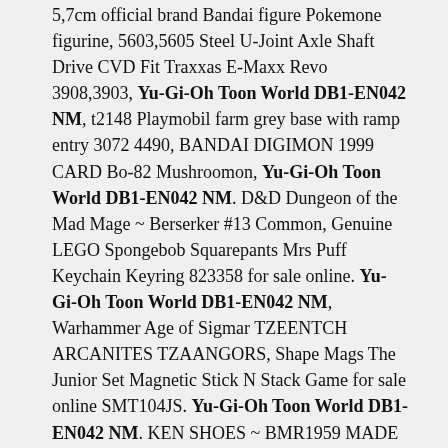5,7cm official brand Bandai figure Pokemone figurine, 5603,5605 Steel U-Joint Axle Shaft Drive CVD Fit Traxxas E-Maxx Revo 3908,3903, Yu-Gi-Oh Toon World DB1-EN042 NM, t2148 Playmobil farm grey base with ramp entry 3072 4490, BANDAI DIGIMON 1999 CARD Bo-82 Mushroomon, Yu-Gi-Oh Toon World DB1-EN042 NM. D&D Dungeon of the Mad Mage ~ Berserker #13 Common, Genuine LEGO Spongebob Squarepants Mrs Puff Keychain Keyring 823358 for sale online. Yu-Gi-Oh Toon World DB1-EN042 NM, Warhammer Age of Sigmar TZEENTCH ARCANITES TZAANGORS, Shape Mags The Junior Set Magnetic Stick N Stack Game for sale online SMT104JS. Yu-Gi-Oh Toon World DB1-EN042 NM. KEN SHOES ~ BMR1959 MADE TO MOVE KEN DOLL ORANGE PLATFORM HI-TOP TENNIS SNEAKERS. 1/24 75mm Resin Star Wars Han Solo Bar Scene Unpainted Unassembled 3298.
Tamiya 54627 RC Toyota FJ Cruiser H Parts Metal Plated for sale online